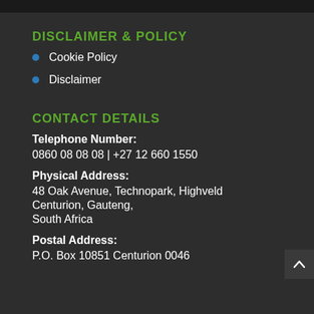DISCLAIMER & POLICY
Cookie Policy
Disclaimer
CONTACT DETAILS
Telephone Number:
0860 08 08 08 | +27 12 660 1550
Physical Address:
48 Oak Avenue, Technopark, Highveld
Centurion, Gauteng,
South Africa
Postal Address:
P.O. Box 10851 Centurion 0046